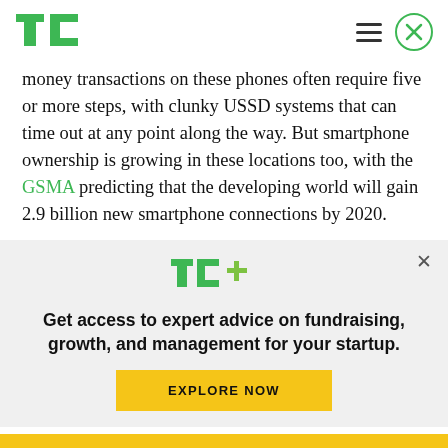TechCrunch header with logo and navigation
money transactions on these phones often require five or more steps, with clunky USSD systems that can time out at any point along the way. But smartphone ownership is growing in these locations too, with the GSMA predicting that the developing world will gain 2.9 billion new smartphone connections by 2020.
[Figure (logo): TechCrunch TC+ logo in green with plus sign in yellow-green]
Get access to expert advice on fundraising, growth, and management for your startup.
EXPLORE NOW